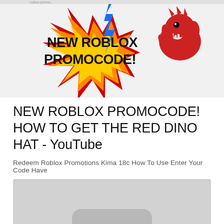[Figure (screenshot): Screenshot showing a YouTube thumbnail with a red and yellow star burst graphic containing bold black text 'NEW ROBLOX PROMOCODE!' on an orange gradient background, and a red dinosaur hat character (Roblox item) in the upper right corner, along with a blue lightning bolt.]
NEW ROBLOX PROMOCODE! HOW TO GET THE RED DINO HAT - YouTube
Redeem Roblox Promotions Kima 18c How To Use Enter Your Code Have
[Figure (screenshot): Partial screenshot of a Roblox-related webpage showing a light gray background with a darker gray rounded rectangle shape in the lower portion, likely a Roblox interface element.]